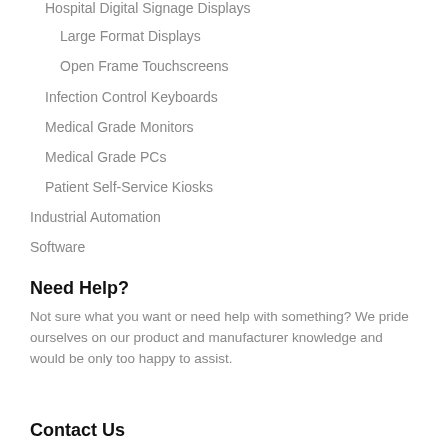Hospital Digital Signage Displays
Large Format Displays
Open Frame Touchscreens
Infection Control Keyboards
Medical Grade Monitors
Medical Grade PCs
Patient Self-Service Kiosks
Industrial Automation
Software
Need Help?
Not sure what you want or need help with something? We pride ourselves on our product and manufacturer knowledge and would be only too happy to assist.
Contact Us